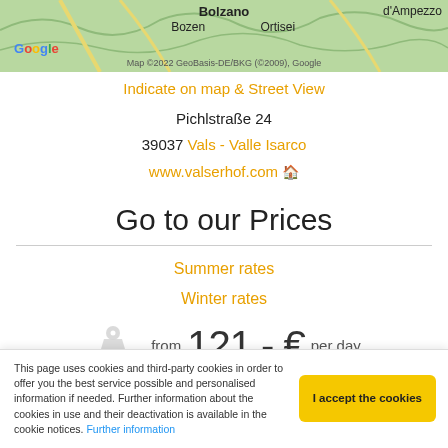[Figure (map): Google Maps screenshot showing region around Bolzano/Bozen, Ortisei, and d'Ampezzo with copyright notice '©2022 GeoBasis-DE/BKG (©2009), Google']
Indicate on map & Street View
Pichlstraße 24
39037 Vals - Valle Isarco
www.valserhof.com 🏠
Go to our Prices
Summer rates
Winter rates
from 121,- € per day
Specialized for
This page uses cookies and third-party cookies in order to offer you the best service possible and personalised information if needed. Further information about the cookies in use and their deactivation is available in the cookie notices. Further information